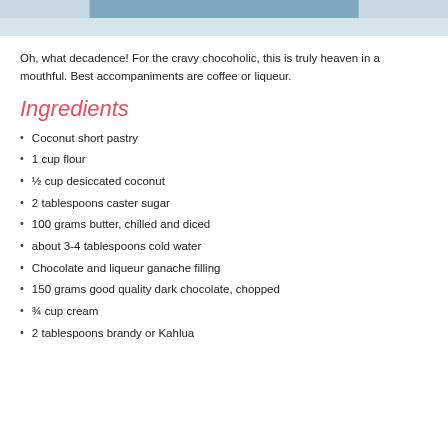[Figure (other): Header image with blue/gray decorative bar at top of page]
Oh, what decadence! For the cravy chocoholic, this is truly heaven in a mouthful. Best accompaniments are coffee or liqueur.
Ingredients
Coconut short pastry
1 cup flour
½ cup desiccated coconut
2 tablespoons caster sugar
100 grams butter, chilled and diced
about 3-4 tablespoons cold water
Chocolate and liqueur ganache filling
150 grams good quality dark chocolate, chopped
¾ cup cream
2 tablespoons brandy or Kahlua